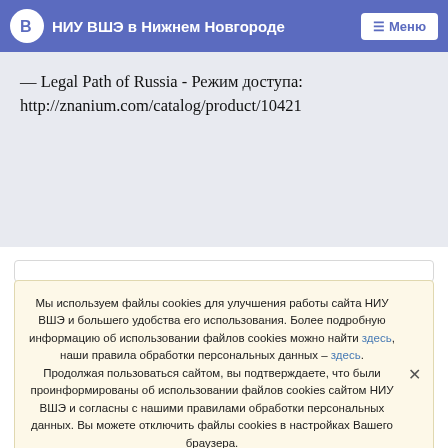НИУ ВШЭ в Нижнем Новгороде  Меню
— Legal Path of Russia - Режим доступа: http://znanium.com/catalog/product/10421
Мы используем файлы cookies для улучшения работы сайта НИУ ВШЭ и большего удобства его использования. Более подробную информацию об использовании файлов cookies можно найти здесь, наши правила обработки персональных данных – здесь. Продолжая пользоваться сайтом, вы подтверждаете, что были проинформированы об использовании файлов cookies сайтом НИУ ВШЭ и согласны с нашими правилами обработки персональных данных. Вы можете отключить файлы cookies в настройках Вашего браузера.